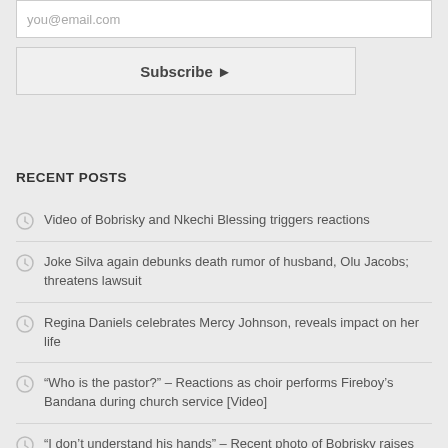you@email.com
Subscribe
RECENT POSTS
Video of Bobrisky and Nkechi Blessing triggers reactions
Joke Silva again debunks death rumor of husband, Olu Jacobs; threatens lawsuit
Regina Daniels celebrates Mercy Johnson, reveals impact on her life
“Who is the pastor?” – Reactions as choir performs Fireboy’s Bandana during church service [Video]
“I don’t understand his hands” – Recent photo of Bobrisky raises